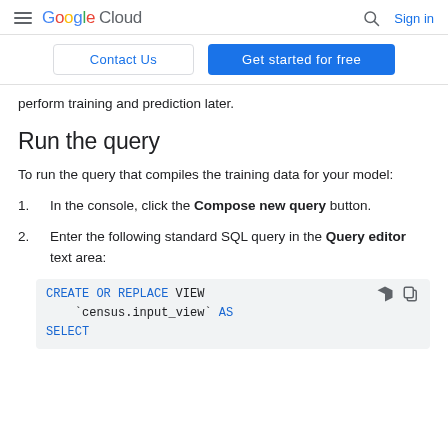Google Cloud — Sign in
Contact Us | Get started for free
perform training and prediction later.
Run the query
To run the query that compiles the training data for your model:
In the console, click the Compose new query button.
Enter the following standard SQL query in the Query editor text area:
CREATE OR REPLACE VIEW
    `census.input_view` AS
SELECT